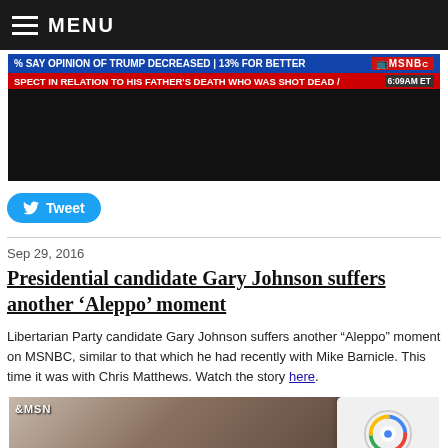MENU
[Figure (screenshot): MSNBC news broadcast screenshot with ticker: '% SAY OPINION OF TRUMP DECREASED | 13% FOR BETTER' and lower ticker 'SPECT IN RELATION TO HIS FATHER'S DEATH WHO WAS SHOT DEAD /' with MSNBC logo and time 6:09AM ET]
Tweet
Sep 29, 2016
Presidential candidate Gary Johnson suffers another ‘Aleppo’ moment
Libertarian Party candidate Gary Johnson suffers another “Aleppo” moment on MSNBC, similar to that which he had recently with Mike Barnicle. This time it was with Chris Matthews. Watch the story here.
[Figure (screenshot): MSNBC studio screenshot showing two men in discussion with MSNBC logo visible, with a reCAPTCHA widget overlay in bottom right corner showing 'Privacy - Terms']